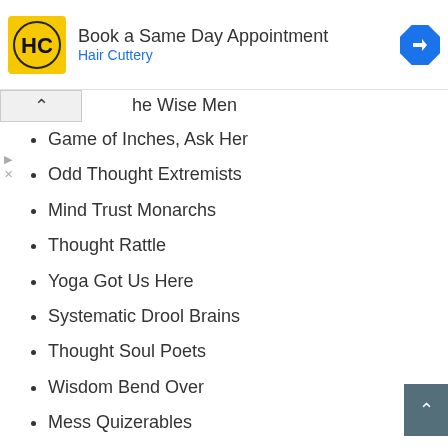[Figure (screenshot): Advertisement banner for Hair Cuttery showing logo and 'Book a Same Day Appointment' text with navigation icon]
he Wise Men
Game of Inches, Ask Her
Odd Thought Extremists
Mind Trust Monarchs
Thought Rattle
Yoga Got Us Here
Systematic Drool Brains
Thought Soul Poets
Wisdom Bend Over
Mess Quizerables
Blunder Junkies
The Rehab Reunion